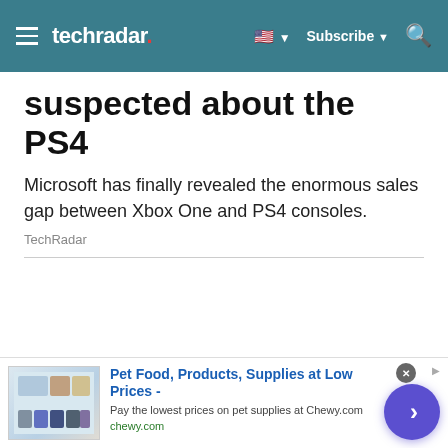techradar — Subscribe
suspected about the PS4
Microsoft has finally revealed the enormous sales gap between Xbox One and PS4 consoles.
TechRadar
[Figure (other): Advertisement banner for Chewy.com pet supplies with product images and a purple CTA chevron button]